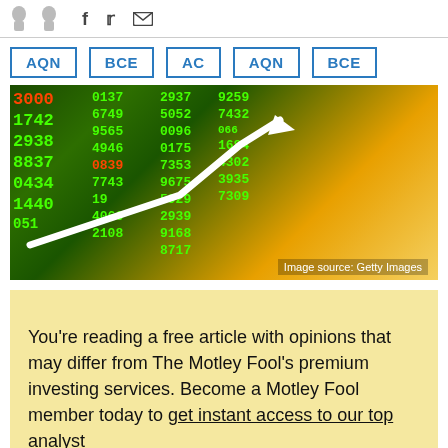Social share icons: Facebook, Twitter, Email
AQN BCE AC AQN BCE
[Figure (photo): Stock market ticker board showing green and red numbers with an upward white arrow overlay and golden light flare. Image source: Getty Images.]
You’re reading a free article with opinions that may differ from The Motley Fool’s premium investing services. Become a Motley Fool member today to get instant access to our top analyst